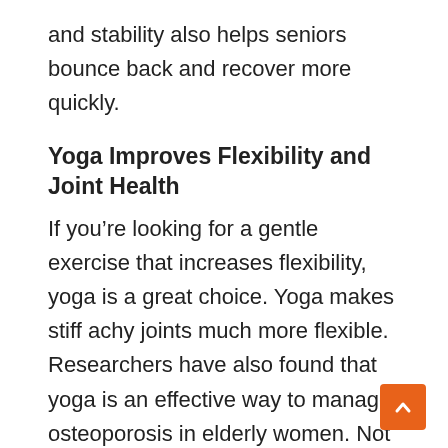and stability also helps seniors bounce back and recover more quickly.
Yoga Improves Flexibility and Joint Health
If you’re looking for a gentle exercise that increases flexibility, yoga is a great choice. Yoga makes stiff achy joints much more flexible. Researchers have also found that yoga is an effective way to manage osteoporosis in elderly women. Not only can these low-impact moves loosen your muscles, they can also tone and support the underlying muscles which can help prevent injury.